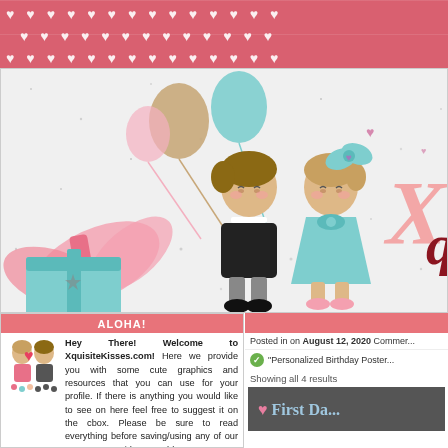[Figure (illustration): Pink decorative banner with white heart pattern on red-pink background at the top of the page]
[Figure (illustration): Banner illustration showing two cute cartoon children (boy in black suit and girl in teal dress) with balloons, gift boxes, pink ribbons, and the XquisiteKisses logo text in pink and dark red cursive on a glittery white background]
ALOHA!
Hey There! Welcome to XquisiteKisses.com! Here we provide you with some cute graphics and resources that you can use for your profile. If there is anything you would like to see on here feel free to suggest it on the cbox. Please be sure to read everything before saving/using any of our content to avoid any problems. Hope you enjoy your stay.
Posted in on August 12, 2020 Commer...
"Personalized Birthday Poster..."
Showing all 4 results
[Figure (screenshot): Thumbnail image with dark background showing '♥ First Da...' text in light blue]